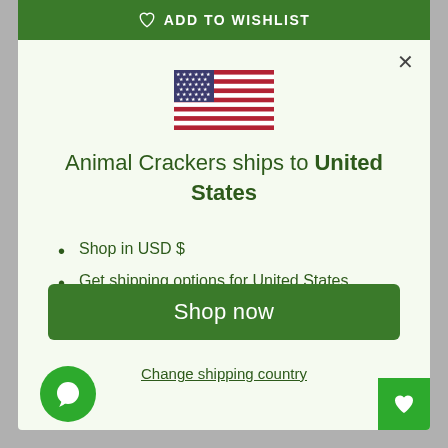ADD TO WISHLIST
[Figure (illustration): USA flag icon]
Animal Crackers ships to United States
Shop in USD $
Get shipping options for United States
Shop now
Change shipping country